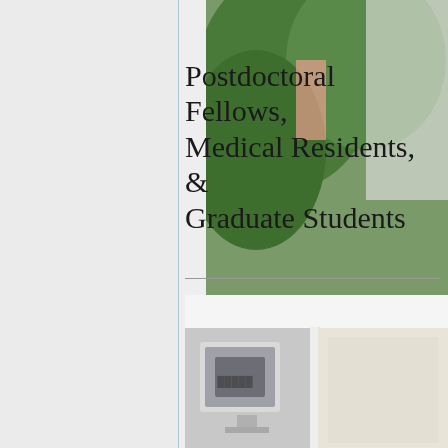Postdoctoral Fellows, Medical Residents, & Graduate Students
[Figure (photo): Collection of photos showing postdoctoral fellows, medical residents and graduate students in various settings including outdoor scenes and laboratory/office environments]
[Figure (photo): Close-up of laboratory or medical equipment, blurred/bokeh style]
[Figure (photo): Solid blue-grey colored panel]
[Figure (photo): Young man with dark hair, portrait style]
[Figure (photo): Medical or laboratory equipment at bottom]
[Figure (photo): Person working at computer or desk]